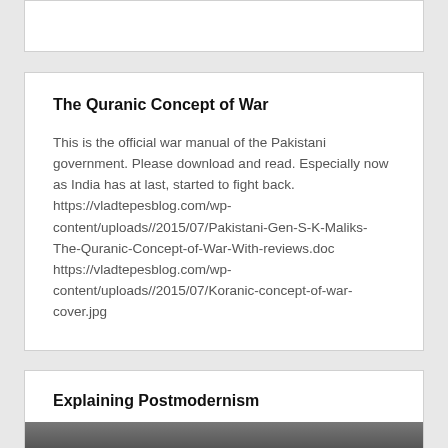The Quranic Concept of War
This is the official war manual of the Pakistani government. Please download and read. Especially now as India has at last, started to fight back. https://vladtepesblog.com/wp-content/uploads//2015/07/Pakistani-Gen-S-K-Maliks-The-Quranic-Concept-of-War-With-reviews.doc https://vladtepesblog.com/wp-content/uploads//2015/07/Koranic-concept-of-war-cover.jpg
Explaining Postmodernism
[Figure (photo): Partial image of a person or object, cropped at bottom of page]